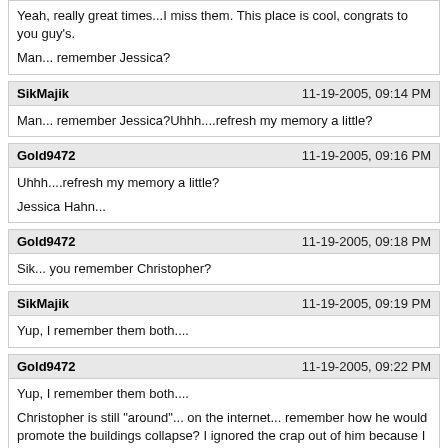Yeah, really great times...I miss them. This place is cool, congrats to you guy's.
Man... remember Jessica?
SikMajik  11-19-2005, 09:14 PM
Man... remember Jessica?Uhhh....refresh my memory a little?
Gold9472  11-19-2005, 09:16 PM
Uhhh....refresh my memory a little?
Jessica Hahn...
Gold9472  11-19-2005, 09:18 PM
Sik... you remember Christopher?
SikMajik  11-19-2005, 09:19 PM
Yup, I remember them both....
Gold9472  11-19-2005, 09:22 PM
Yup, I remember them both....
Christopher is still "around"... on the internet... remember how he would promote the buildings collapse? I ignored the crap out of him because I thought he was "whacked", but I've since been convinced.